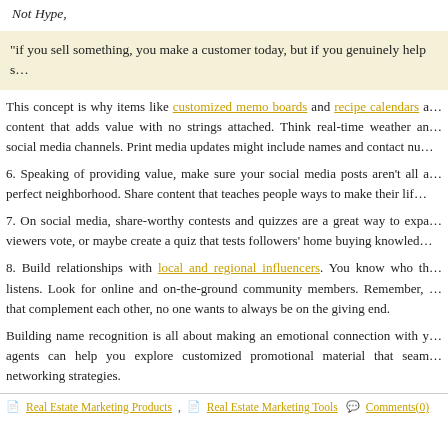Not Hype,
“if you sell something, you make a customer today, but if you genuinely help s…
This concept is why items like customized memo boards and recipe calendars a… content that adds value with no strings attached. Think real-time weather an… social media channels. Print media updates might include names and contact nu…
6. Speaking of providing value, make sure your social media posts aren’t all a… perfect neighborhood. Share content that teaches people ways to make their lif…
7. On social media, share-worthy contests and quizzes are a great way to expa… viewers vote, or maybe create a quiz that tests followers’ home buying knowled…
8. Build relationships with local and regional influencers. You know who th… listens. Look for online and on-the-ground community members. Remember, … that complement each other, no one wants to always be on the giving end.
Building name recognition is all about making an emotional connection with y… agents can help you explore customized promotional material that seam… networking strategies.
Real Estate Marketing Products , Real Estate Marketing Tools Comments(0)